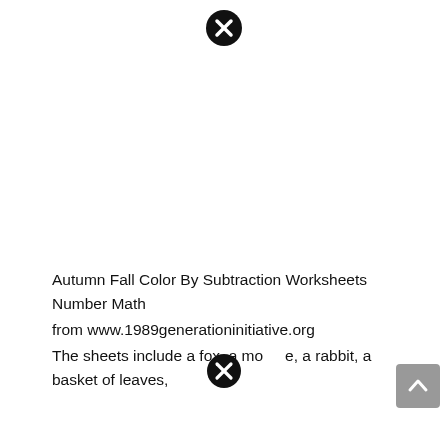[Figure (other): Close/cancel button icon (black circle with white X) at top center of page]
Autumn Fall Color By Subtraction Worksheets Number Math from www.1989generationinitiative.org The sheets include a fox, a mouse, a rabbit, a basket of leaves,
[Figure (other): Close/cancel button icon (black circle with white X) overlaid near bottom center of page]
[Figure (other): Scroll-to-top button (gray rounded rectangle with up arrow) at bottom right]